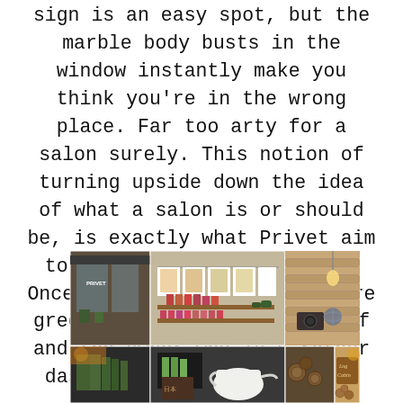sign is an easy spot, but the marble body busts in the window instantly make you think you're in the wrong place. Far too arty for a salon surely. This notion of turning upside down the idea of what a salon is or should be, is exactly what Privet aim to do and succeed in doing. Once you enter Privet, you are greeted by the friendly staff and the owner who is a rather dashing man (second twist).
[Figure (photo): A 2-row collage of salon photos: top row shows exterior of Privet salon, botanical print decorations on string, shelves with nail polish bottles, and a rustic wall with vintage camera decor. Bottom row shows interior scenes including products, a teapot, and a 'Log Cabin' wooden sign.]